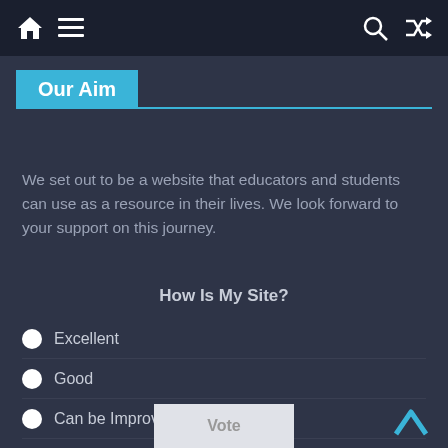Navigation bar with home, menu, search, and shuffle icons
Our Aim
We set out to be a website that educators and students can use as a resource in their lives. We look forward to your support on this journey.
How Is My Site?
Excellent
Good
Can be Improved
Bad
No comments
Vote